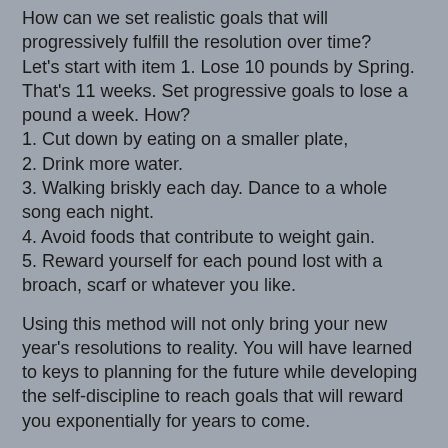How can we set realistic goals that will progressively fulfill the resolution over time?
Let's start with item 1. Lose 10 pounds by Spring.  That's 11 weeks. Set progressive goals to lose a pound a week. How?
1. Cut down by eating on a smaller plate,
2. Drink more water.
3. Walking briskly each day. Dance to a whole song each night.
4. Avoid foods that contribute to weight gain.
5. Reward yourself for each pound lost with a broach, scarf or whatever you like.
Using this method will not only bring your new year's resolutions to reality. You will have learned to keys to planning for the future while developing the self-discipline to reach goals that will reward you exponentially for years to come.
Want to plan a summertime family reunion? First goal. Get the book or web app. Just follow the link in the Profile on this page.